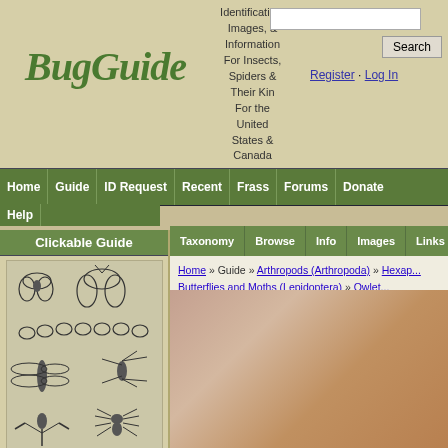[Figure (logo): BugGuide logo with stylized green text]
Identification, Images, & Information For Insects, Spiders & Their Kin For the United States & Canada
Register · Log In
Home | Guide | ID Request | Recent | Frass | Forums | Donate | Help
Clickable Guide
[Figure (illustration): Black and white illustrations of various insects and bugs]
Taxonomy | Browse | Info | Images | Links
Home » Guide » Arthropods (Arthropoda) » Hexapods... Butterflies and Moths (Lepidoptera) » Owlets... » Hypocala » Hypocala Moth - Hodges#864...
Photo#2036967
[Figure (photo): Close-up photo of what appears to be a moth on sandy/rough surface]